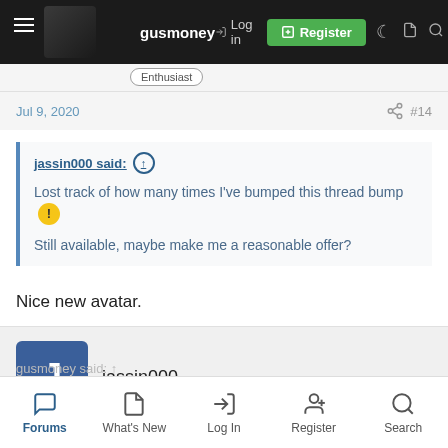gusmoney | Log in | Register
Enthusiast
Jul 9, 2020 #14
jassin000 said: ↑

Lost track of how many times I've bumped this thread bump ⚠️

Still available, maybe make me a reasonable offer?
Nice new avatar.
jassin000
Forums | What's New | Log In | Register | Search